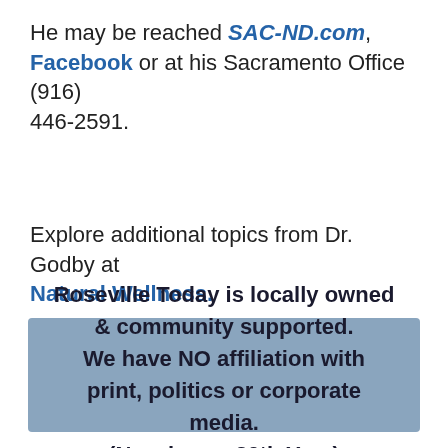He may be reached SAC-ND.com, Facebook or at his Sacramento Office (916) 446-2591.
Explore additional topics from Dr. Godby at Natural Wellness.
Roseville Today is locally owned & community supported. We have NO affiliation with print, politics or corporate media. (Now in our 20th Year)